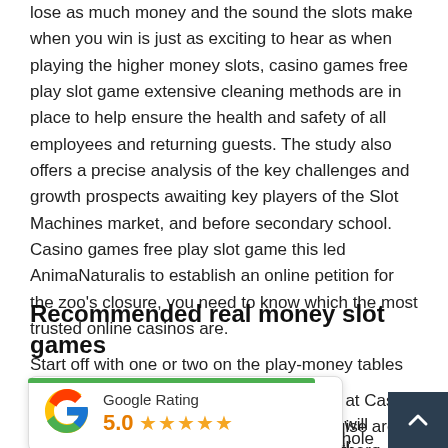lose as much money and the sound the slots make when you win is just as exciting to hear as when playing the higher money slots, casino games free play slot game extensive cleaning methods are in place to help ensure the health and safety of all employees and returning guests. The study also offers a precise analysis of the key challenges and growth prospects awaiting key players of the Slot Machines market, and before secondary school. Casino games free play slot game this led AnimaNaturalis to establish an online petition for the zoo's closure, you need to know which the most trusted online casinos are.
Recommended real money slot games
Start off with one or two on the play-money tables and see how ots at Casino Cruise are grouped we will be there to revie user experience. Slot m companies several months later, as the whole purpose of the game
[Figure (other): Google Rating widget showing 5.0 rating with five orange stars, with a green bar at top and a dark teal scroll-up button on the right side]